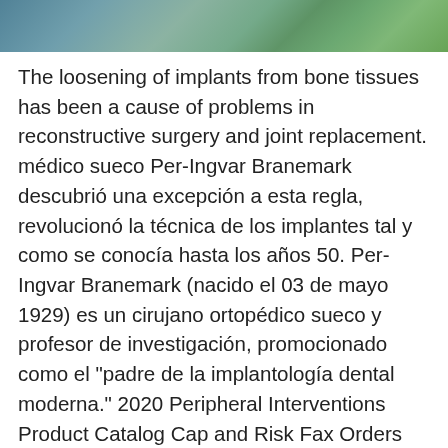[Figure (photo): Horizontal photo strip showing an outdoor scene with bridges or structures over water with green trees and blue sky]
The loosening of implants from bone tissues has been a cause of problems in reconstructive surgery and joint replacement. médico sueco Per-Ingvar Branemark descubrió una excepción a esta regla, revolucionó la técnica de los implantes tal y como se conocía hasta los años 50. Per-Ingvar Branemark (nacido el 03 de mayo 1929) es un cirujano ortopédico sueco y profesor de investigación, promocionado como el "padre de la implantología dental moderna." 2020 Peripheral Interventions Product Catalog Cap and Risk Fax Orders Fax: 1.888.809.7120 Billing Inquiries Phone: 1.888.272.9442 Hours Customer Service is available from 8:30 am EST to 7:00 pm EST for next day delivery, and 7:00 pm EST to 9:30 pm EST for PDF | On Mar 12, 2015, Ramesh Chowdhary